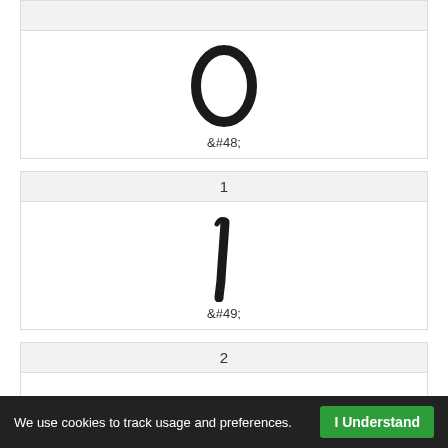| 0 | &#48; |
| 1 | &#49; |
| 2 | &#50; |
| 3 | ... |
We use cookies to track usage and preferences. | I Understand